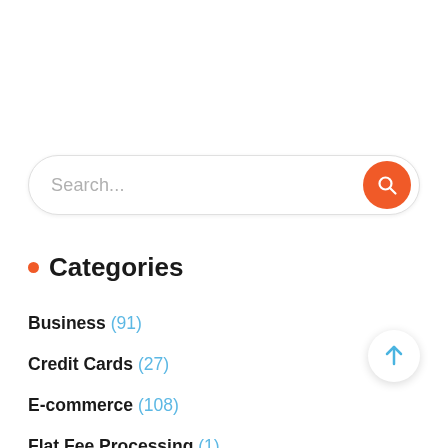[Figure (other): Search bar with orange circular search button on the right]
Categories
Business (91)
Credit Cards (27)
E-commerce (108)
Flat Fee Processing (1)
Fundraising (12)